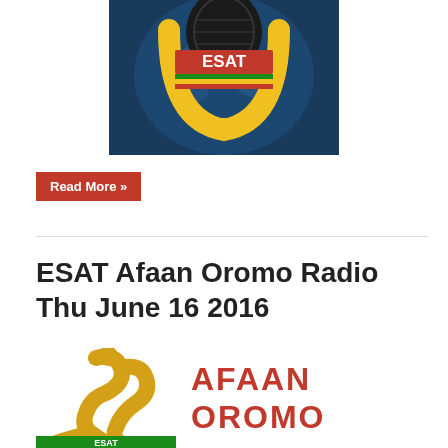[Figure (logo): ESAT TV logo with microphone and globe, yellow and blue colors, text 'ESAT' in white on red bar]
Read More »
ESAT Afaan Oromo Radio Thu June 16 2016
[Figure (logo): Afaan Oromo ESAT radio logo with golden figure and text 'AFAAN OROMO' in red, 'ESAT' text at bottom]